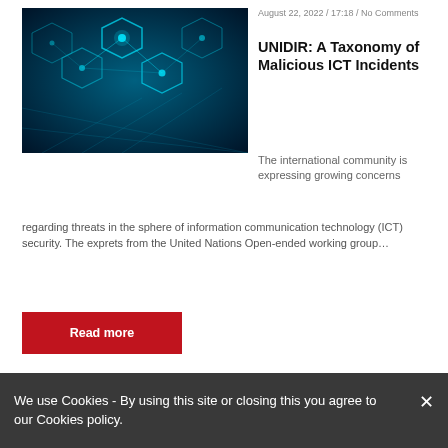[Figure (photo): Abstract blue digital network/technology image with glowing nodes and connection lines on dark background]
August 22, 2022 / 17:18 / No Comments
UNIDIR: A Taxonomy of Malicious ICT Incidents
The international community is expressing growing concerns regarding threats in the sphere of information communication technology (ICT) security. The exprets from the United Nations Open-ended working group…
Read more
Our partners
[Figure (screenshot): Partial view of a website screenshot showing infosecurity-related content at the bottom of the page]
We use Cookies - By using this site or closing this you agree to our Cookies policy.